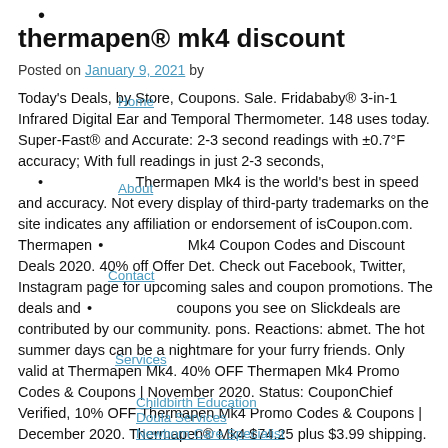•
thermapen® mk4 discount
Posted on January 9, 2021 by
Today's Deals, by Store, Coupons. Sale. Fridababy® 3-in-1 Infrared Digital Ear and Temporal Thermometer. 148 uses today. Super-Fast® and Accurate: 2-3 second readings with ±0.7°F accuracy; With full readings in just 2-3 seconds, Thermapen Mk4 is the world's best in speed and accuracy. Not every display of third-party trademarks on the site indicates any affiliation or endorsement of isCoupon.com. Thermapen Mk4 Coupon Codes and Discount Deals 2020. 40% off Offer Det. Check out Facebook, Twitter, Instagram page for upcoming sales and coupon promotions. The deals and coupons you see on Slickdeals are contributed by our community. pons. Reactions: abmet. The hot summer days can be a nightmare for your furry friends. Only valid at Thermapen Mk4. 40% OFF Thermapen Mk4 Promo Codes & Coupons | November 2020. Status: CouponChief Verified, 10% OFF Thermapen Mk4 Promo Codes & Coupons | December 2020. Thermapen® Mk4 $74.25 plus $3.99 shipping. You can buy more than you expected via the top offers: 'Left: 20% Off Thermapen Mk4' in ThermoWorks, so hurry up to get it. This is